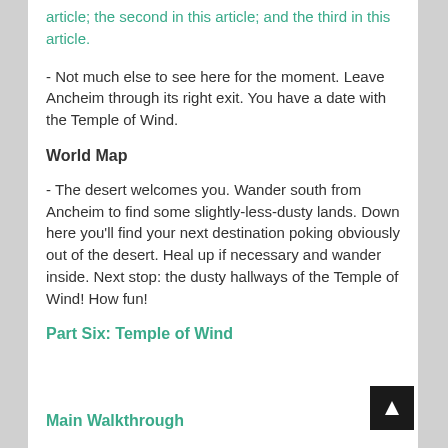article; the second in this article; and the third in this article.
- Not much else to see here for the moment. Leave Ancheim through its right exit. You have a date with the Temple of Wind.
World Map
- The desert welcomes you. Wander south from Ancheim to find some slightly-less-dusty lands. Down here you'll find your next destination poking obviously out of the desert. Heal up if necessary and wander inside. Next stop: the dusty hallways of the Temple of Wind! How fun!
Part Six: Temple of Wind
Main Walkthrough